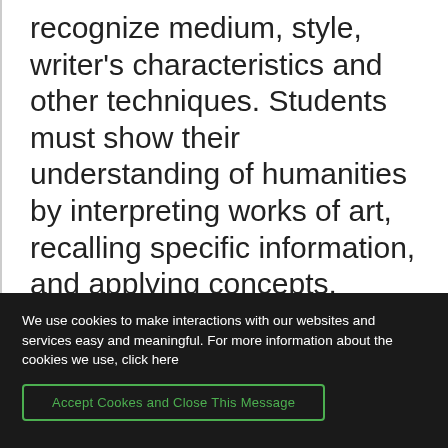recognize medium, style, writer's characteristics and other techniques. Students must show their understanding of humanities by interpreting works of art, recalling specific information, and applying concepts. Concepts from the disciplines studied in this course are going to be integrated with contemporary American culture.
We use cookies to make interactions with our websites and services easy and meaningful. For more information about the cookies we use, click here
Accept Cookes and Close This Message